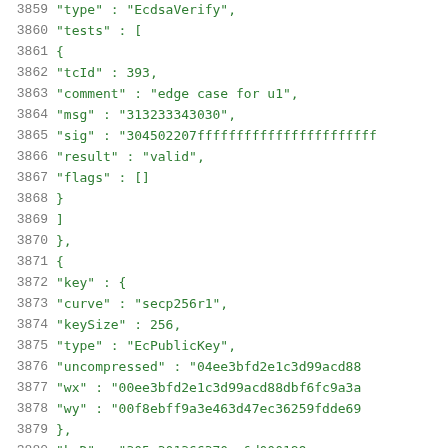Code listing lines 3859-3879: JSON structure for EcdsaVerify test vectors and EcPublicKey definition with secp256r1 curve parameters